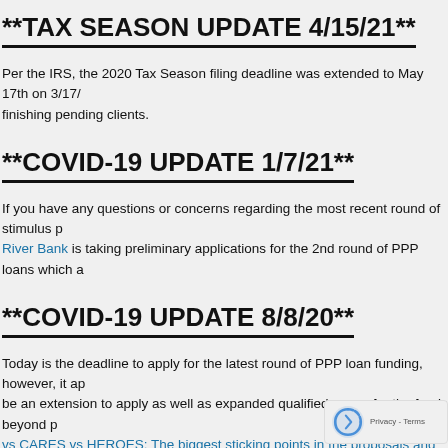**TAX SEASON UPDATE 4/15/21**
Per the IRS, the 2020 Tax Season filing deadline was extended to May 17th on 3/17/... finishing pending clients.
**COVID-19 UPDATE 1/7/21**
If you have any questions or concerns regarding the most recent round of stimulus p... River Bank is taking preliminary applications for the 2nd round of PPP loans which a...
**COVID-19 UPDATE 8/8/20**
Today is the deadline to apply for the latest round of PPP loan funding, however, it ap... be an extension to apply as well as expanded qualified usage for the funds beyond p... vs CARES vs HEROES: The biggest sticking points in the proposals and how they c... which was passed in March, and the upcoming act that will most likely be a comprom...
In addition, if you own a business and are looking for a lending institutio... done more for small businesses in need of funding than any of the large...